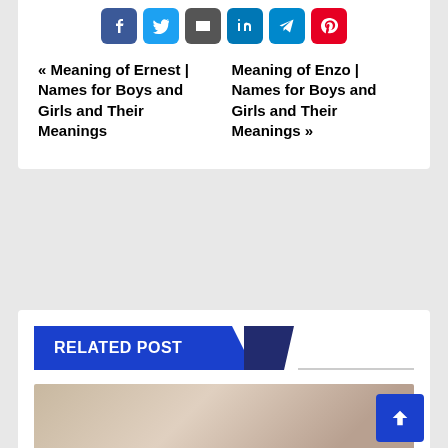[Figure (other): Social share icon buttons: Facebook (blue), Twitter (light blue), Email (dark grey), LinkedIn (blue), Telegram (blue), Pinterest (red)]
« Meaning of Ernest | Names for Boys and Girls and Their Meanings
Meaning of Enzo | Names for Boys and Girls and Their Meanings »
RELATED POST
[Figure (photo): Thumbnail image of a person, partially visible, with soft warm background tones]